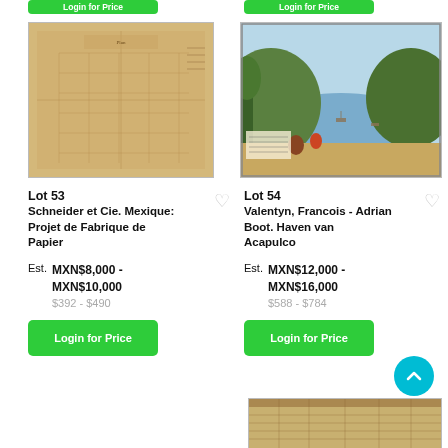[Figure (photo): Green Login for Price button (top left, partially visible)]
[Figure (photo): Green Login for Price button (top right, partially visible)]
[Figure (photo): Lot 53 - Old map/plan document, Schneider et Cie. Mexique: Projet de Fabrique de Papier, tan/brown folded document]
[Figure (photo): Lot 54 - Colored engraving, Valentyn, Francois - Adrian Boot. Haven van Acapulco, harbor scene with ships and trees]
Lot 53
Schneider et Cie. Mexique: Projet de Fabrique de Papier
Est.  MXN$8,000 -
MXN$10,000
$392 - $490
Login for Price
Lot 54
Valentyn, Francois - Adrian Boot. Haven van Acapulco
Est.  MXN$12,000 -
MXN$16,000
$588 - $784
Login for Price
[Figure (photo): Partial image of another lot item visible at bottom right]